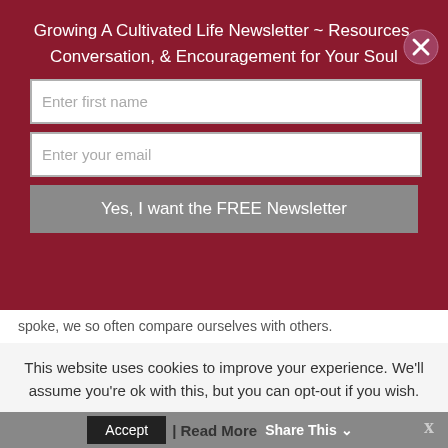Growing A Cultivated Life Newsletter ~ Resources, Conversation, & Encouragement for Your Soul
Enter first name
Enter your email
Yes, I want the FREE Newsletter
spoke, we so often compare ourselves with others.
We can compare ourselves with anything. “It’s a gift. We don’t even have to think about it. We just do it.” {Carrie Stephens}
Yep – I sure did. It was humbling and it was eye
This website uses cookies to improve your experience. We'll assume you're ok with this, but you can opt-out if you wish.
Accept Read More Share This ⌄